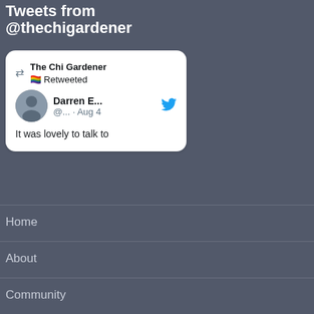Tweets from @thechigardener
[Figure (screenshot): Screenshot of a Twitter/X retweet card showing 'The Chi Gardener 🏳️‍🌈 Retweeted' above a tweet by 'Darren E...' with handle '@...' posted on Aug 4, with text 'It was lovely to talk to']
Home
About
Community
Conservation